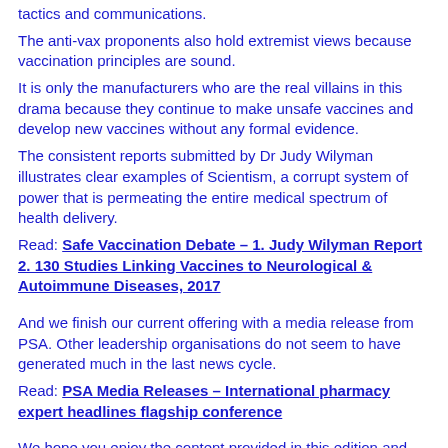tactics and communications.
The anti-vax proponents also hold extremist views because vaccination principles are sound.
It is only the manufacturers who are the real villains in this drama because they continue to make unsafe vaccines and develop new vaccines without any formal evidence.
The consistent reports submitted by Dr Judy Wilyman illustrates clear examples of Scientism, a corrupt system of power that is permeating the entire medical spectrum of health delivery.
Read: Safe Vaccination Debate – 1. Judy Wilyman Report 2. 130 Studies Linking Vaccines to Neurological & Autoimmune Diseases, 2017
And we finish our current offering with a media release from PSA. Other leadership organisations do not seem to have generated much in the last news cycle.
Read: PSA Media Releases – International pharmacy expert headlines flagship conference
We hope you enjoy the content provided in this edition and we invite